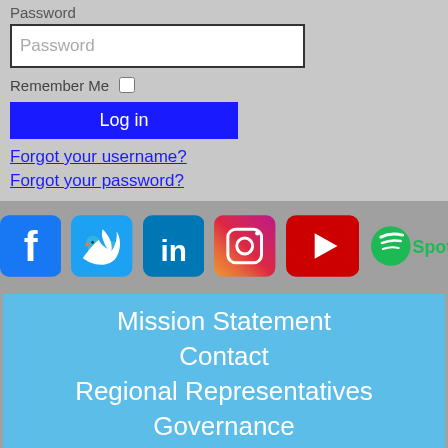Password
Password (input field)
Remember Me
Log in
Forgot your username?
Forgot your password?
[Figure (screenshot): Social media icons: Facebook, Twitter, LinkedIn, Instagram, YouTube, Spotify]
Mission Statement
Contact
Regional Representatives
Governance
Incorporation Documents
Registered Company Details